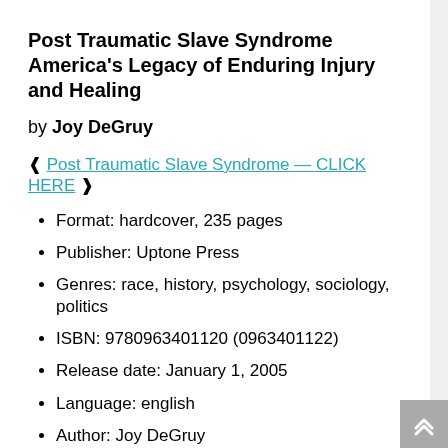Post Traumatic Slave Syndrome
America's Legacy of Enduring Injury and Healing
by Joy DeGruy
❰ Post Traumatic Slave Syndrome — CLICK HERE ❱
Format: hardcover, 235 pages
Publisher: Uptone Press
Genres: race, history, psychology, sociology, politics
ISBN: 9780963401120 (0963401122)
Release date: January 1, 2005
Language: english
Author: Joy DeGruy
About The Book
While African Americans managed to emerge from